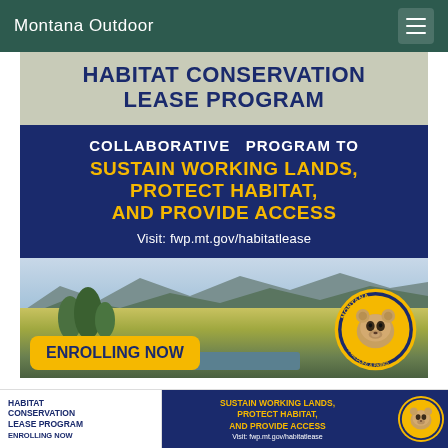Montana Outdoor
HABITAT CONSERVATION LEASE PROGRAM
COLLABORATIVE PROGRAM TO SUSTAIN WORKING LANDS, PROTECT HABITAT, AND PROVIDE ACCESS
Visit: fwp.mt.gov/habitatlease
[Figure (photo): Landscape photo of Montana countryside with yellow fields, mountains in background, water, and trees. Enrolling Now badge in yellow on left. Montana Fish, Wildlife & Parks circular seal on right.]
HABITAT CONSERVATION LEASE PROGRAM
ENROLLING NOW
SUSTAIN WORKING LANDS, PROTECT HABITAT, AND PROVIDE ACCESS
Visit: fwp.mt.gov/habitatlease